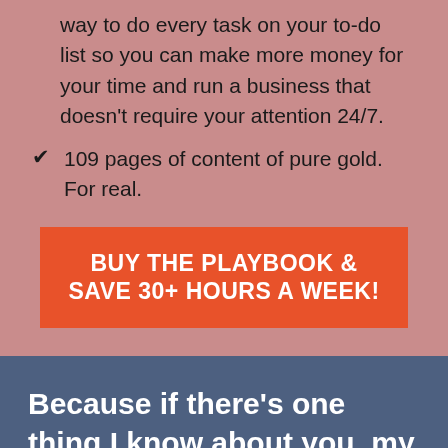way to do every task on your to-do list so you can make more money for your time and run a business that doesn't require your attention 24/7.
109 pages of content of pure gold. For real.
BUY THE PLAYBOOK & SAVE 30+ HOURS A WEEK!
Because if there's one thing I know about you, my friend, it's that your desire to become an entrepreneur doesn't include swapping a 9-5 job for a 24/7